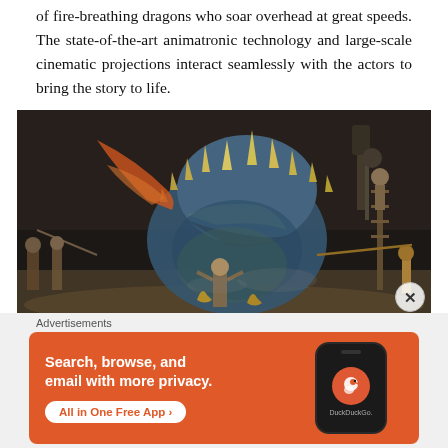of fire-breathing dragons who soar overhead at great speeds. The state-of-the-art animatronic technology and large-scale cinematic projections interact seamlessly with the actors to bring the story to life.
[Figure (photo): A large blue animatronic dragon with spikes on its back faces the audience, surrounded by costumed actors holding spears and weapons. A performer is elevated on a tall ladder on the right side. Dramatic stage lighting creates a dark, theatrical atmosphere.]
Advertisements
[Figure (screenshot): DuckDuckGo advertisement banner with orange background. Text reads: Search, browse, and email with more privacy. All in One Free App. Shows a phone mockup with the DuckDuckGo app logo.]